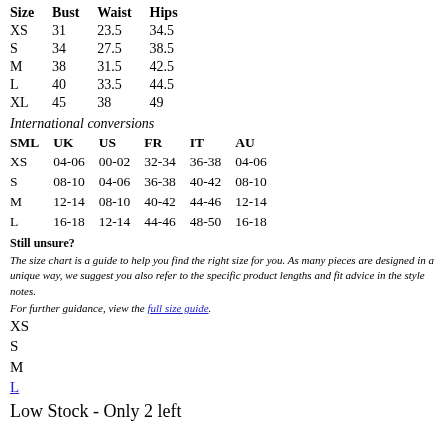| Size | Bust | Waist | Hips |
| --- | --- | --- | --- |
| XS | 31 | 23.5 | 34.5 |
| S | 34 | 27.5 | 38.5 |
| M | 38 | 31.5 | 42.5 |
| L | 40 | 33.5 | 44.5 |
| XL | 45 | 38 | 49 |
International conversions
| SML | UK | US | FR | IT | AU |
| --- | --- | --- | --- | --- | --- |
| XS | 04-06 | 00-02 | 32-34 | 36-38 | 04-06 |
| S | 08-10 | 04-06 | 36-38 | 40-42 | 08-10 |
| M | 12-14 | 08-10 | 40-42 | 44-46 | 12-14 |
| L | 16-18 | 12-14 | 44-46 | 48-50 | 16-18 |
Still unsure?
The size chart is a guide to help you find the right size for you. As many pieces are designed in a unique way, we suggest you also refer to the specific product lengths and fit advice in the style notes.
For further guidance, view the full size guide.
XS
S
M
L
Low Stock - Only 2 left